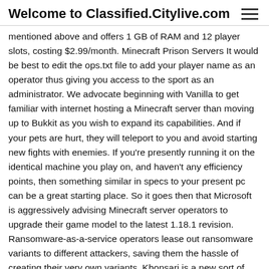Welcome to Classified.Citylive.com
mentioned above and offers 1 GB of RAM and 12 player slots, costing $2.99/month. Minecraft Prison Servers It would be best to edit the ops.txt file to add your player name as an operator thus giving you access to the sport as an administrator. We advocate beginning with Vanilla to get familiar with internet hosting a Minecraft server than moving up to Bukkit as you wish to expand its capabilities. And if your pets are hurt, they will teleport to you and avoid starting new fights with enemies. If you're presently running it on the identical machine you play on, and haven't any efficiency points, then something similar in specs to your present pc can be a great starting place. So it goes then that Microsoft is aggressively advising Minecraft server operators to upgrade their game model to the latest 1.18.1 revision. Ransomware-as-a-service operators lease out ransomware variants to different attackers, saving them the hassle of creating their very own variants. Khonsari is a new sort of ransomware that Cado Security really calls "a bit boring." Evaluating the reviewers reported definitely to the